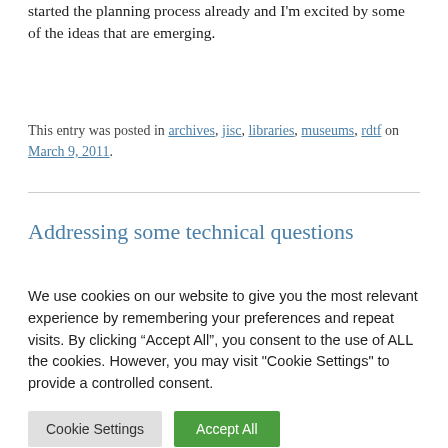started the planning process already and I'm excited by some of the ideas that are emerging.
This entry was posted in archives, jisc, libraries, museums, rdtf on March 9, 2011.
Addressing some technical questions
We use cookies on our website to give you the most relevant experience by remembering your preferences and repeat visits. By clicking “Accept All”, you consent to the use of ALL the cookies. However, you may visit "Cookie Settings" to provide a controlled consent.